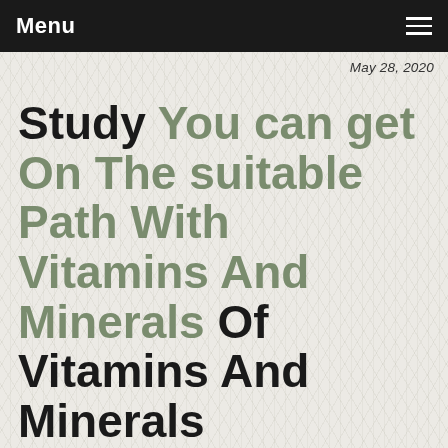Menu
May 28, 2020
Study You can get On The suitable Path With Vitamins And Minerals Of Vitamins And Minerals
Are you getting sufficient sunlight in the course of the winter months? With out it, you may have Vitamin D deficiency. Do you've your period? If so, you may be low in magnesium and iron. Calcium, B12, or dif...
Read more